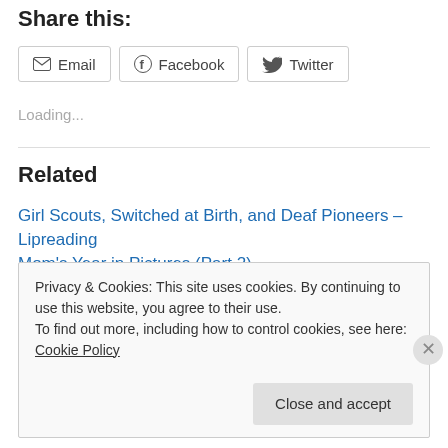Share this:
Email
Facebook
Twitter
Loading...
Related
Girl Scouts, Switched at Birth, and Deaf Pioneers – Lipreading Mom's Year in Pictures (Part 2)
December 28, 2012
In "Advocacy"
Privacy & Cookies: This site uses cookies. By continuing to use this website, you agree to their use.
To find out more, including how to control cookies, see here: Cookie Policy
Close and accept